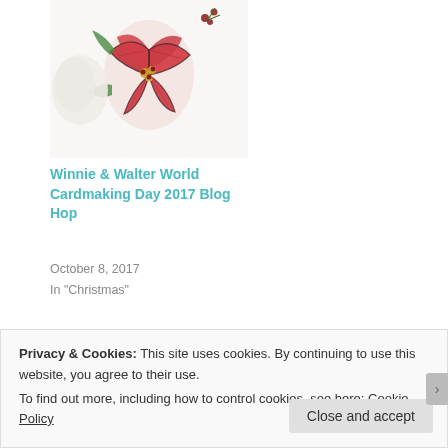[Figure (photo): Watercolor painting of a red poinsettia flower with green leaves on a white background]
Winnie & Walter World Cardmaking Day 2017 Blog Hop
October 8, 2017
In "Christmas"
This entry was posted in Guest Designing, Watercolor cards and tagged Flower, Gansai Tambi watercolours, Watercolor. Bookmark the permalink.
Privacy & Cookies: This site uses cookies. By continuing to use this website, you agree to their use.
To find out more, including how to control cookies, see here: Cookie Policy